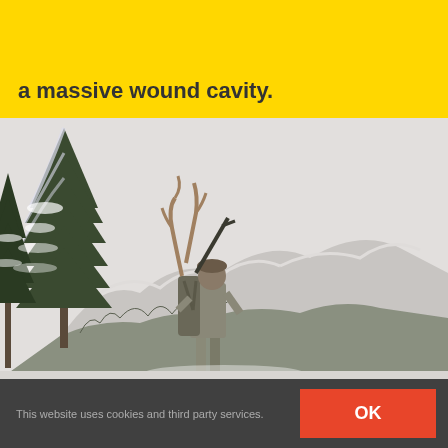a massive wound cavity.
[Figure (photo): A hunter in camouflage gear carrying a large backpack with antlers, walking through a snowy mountain landscape with snow-covered pine trees on the left and a mountain ridge in the background.]
This website uses cookies and third party services.